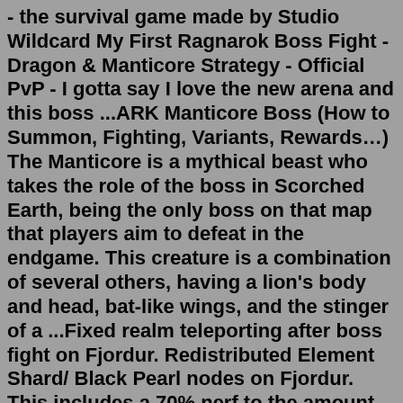- the survival game made by Studio Wildcard My First Ragnarok Boss Fight - Dragon & Manticore Strategy - Official PvP - I gotta say I love the new arena and this boss ...ARK Manticore Boss (How to Summon, Fighting, Variants, Rewards…) The Manticore is a mythical beast who takes the role of the boss in Scorched Earth, being the only boss on that map that players aim to defeat in the endgame. This creature is a combination of several others, having a lion's body and head, bat-like wings, and the stinger of a ...Fixed realm teleporting after boss fight on Fjordur. Redistributed Element Shard/ Black Pearl nodes on Fjordur. This includes a 70% nerf to the amount of nodes in the Throat of Flames and redistribution of those to the following areas: Element Shards added to: Fire Wyvern Trench, Molten Caverns, Mount Doom Caverns, BalheimrSelect the link below to schedule your purchased Boss Fight with an available admin. Use these admin commands to spawn one. Ark Boss Arena (Ragnarok) (Teleport Does Not Activate Boss fight) Dragon & Manticore...